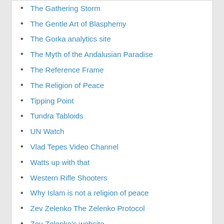The Gathering Storm
The Gentle Art of Blasphemy
The Gorka analytics site
The Myth of the Andalusian Paradise
The Reference Frame
The Religion of Peace
Tipping Point
Tundra Tabloids
UN Watch
Vlad Tepes Video Channel
Watts up with that
Western Rifle Shooters
Why Islam is not a religion of peace
Zev Zelenko The Zelenko Protocol
Zev Zelenko's website
Subscribe to Blog via Email
Enter your email address to subscribe to this blog and receive notifications of new posts by email.